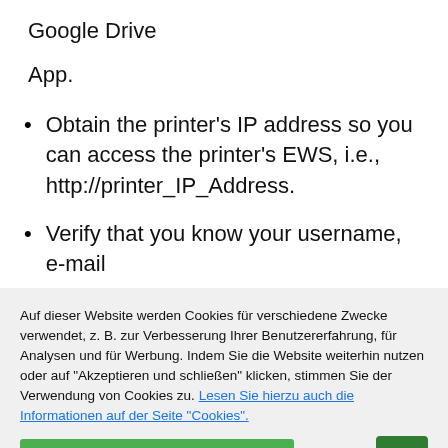Google Drive
App.
Obtain the printer's IP address so you can access the printer's EWS, i.e., http://printer_IP_Address.
Verify that you know your username, e-mail
Auf dieser Website werden Cookies für verschiedene Zwecke verwendet, z. B. zur Verbesserung Ihrer Benutzererfahrung, für Analysen und für Werbung. Indem Sie die Website weiterhin nutzen oder auf "Akzeptieren und schließen" klicken, stimmen Sie der Verwendung von Cookies zu. Lesen Sie hierzu auch die Informationen auf der Seite "Cookies".
Akzeptieren und schließen